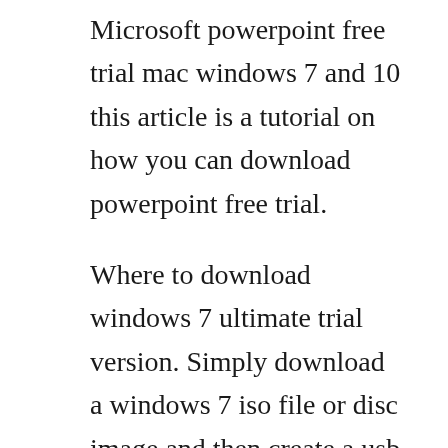Microsoft powerpoint free trial mac windows 7 and 10 this article is a tutorial on how you can download powerpoint free trial.
Where to download windows 7 ultimate trial version. Simply download a windows 7 iso file or disc image and then create a usb or dvd for installation. Recover or reinstall windows 7 purchased through a retailer. However if something similar happens with you and you cannot source out a windows 7. Select install instructions to see which packages are available for download, and make note of the